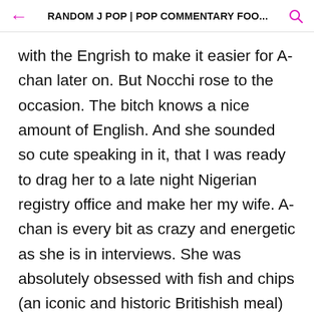RANDOM J POP | POP COMMENTARY FOO...
with the Engrish to make it easier for A-chan later on. But Nocchi rose to the occasion. The bitch knows a nice amount of English. And she sounded so cute speaking in it, that I was ready to drag her to a late night Nigerian registry office and make her my wife. A-chan is every bit as crazy and energetic as she is in interviews. She was absolutely obsessed with fish and chips (an iconic and historic Britishish meal) and used any opportunity to just say the word, commandeering the crowd to chant it with her. She also surprisingly broke into Queen's "We will rock you"